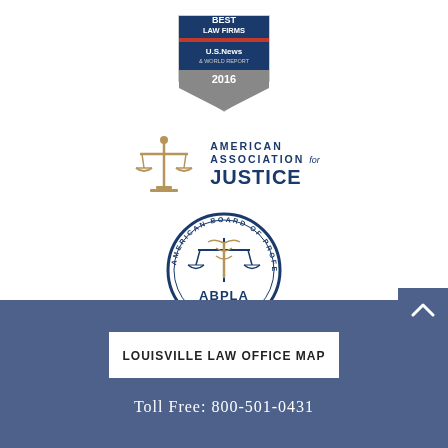[Figure (logo): Best Law Firms U.S. News 2016 badge/award logo]
[Figure (logo): American Association for Justice logo with scales of justice icon]
[Figure (logo): American Board of Professional Liability Attorneys (ABPLA) circular seal with scales of justice and caduceus]
LOUISVILLE LAW OFFICE MAP
Toll Free: 800-501-0431